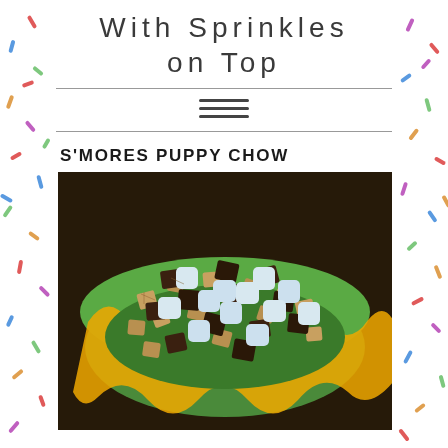With Sprinkles on Top
S'MORES PUPPY CHOW
[Figure (photo): A colorful green and yellow wavy bowl filled with s'mores puppy chow mix — Chex cereal pieces, chocolate cocoa pieces, and mini marshmallows — on a dark wooden surface.]